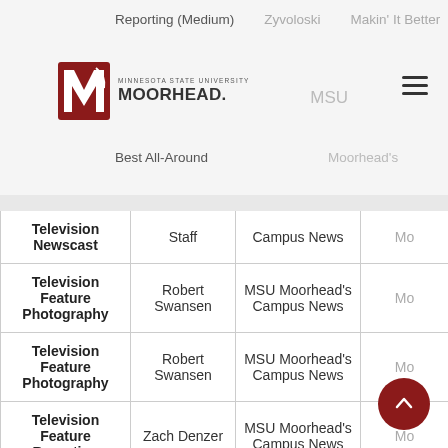Reporting (Medium)  Zyvoloski  Makin' It Better  MSU  Moorhead's  Best All-Around
[Figure (logo): MSU Moorhead logo with red M icon and text 'Minnesota State University MOORHEAD.']
| Category | Person | Organization | Mo... |
| --- | --- | --- | --- |
| Television Newscast | Staff | Campus News | Mo |
| Television Feature Photography | Robert Swansen | MSU Moorhead's Campus News | Mo |
| Television Feature Photography | Robert Swansen | MSU Moorhead's Campus News | Mo |
| Television Feature Reporting | Zach Denzer | MSU Moorhead's Campus News | Mo |
| Television General News Reporting | Zach Denzer | MSU Moorhead's Campus News | Mo |